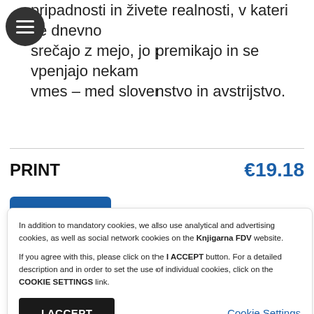pripadnosti in živete realnosti, v kateri se dnevno srečajo z mejo, jo premikajo in se vpenjajo nekam vmes – med slovenstvo in avstrijstvo.
PRINT €19.18
In addition to mandatory cookies, we also use analytical and advertising cookies, as well as social network cookies on the Knjigarna FDV website.
If you agree with this, please click on the I ACCEPT button. For a detailed description and in order to set the use of individual cookies, click on the COOKIE SETTINGS link.
I ACCEPT
Cookie Settings